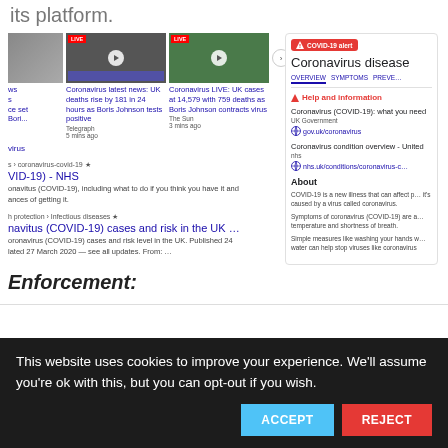its platform.
[Figure (screenshot): Google search results screenshot showing COVID-19 news articles with thumbnails, including 'Coronavirus latest news: UK deaths rise by 181 in 24 hours as Boris Johnson tests positive' from Telegraph, and 'Coronavirus LIVE: UK cases at 14,579 with 759 deaths as Boris Johnson contracts virus' from The Sun. Also shows NHS and UK government search results. On the right is a COVID-19 alert panel from Google with tabs for Overview, Symptoms, Prevention, Help and information section with links to gov.uk/coronavirus and nhs.uk, and an About section.]
Enforcement:
This website uses cookies to improve your experience. We'll assume you're ok with this, but you can opt-out if you wish.